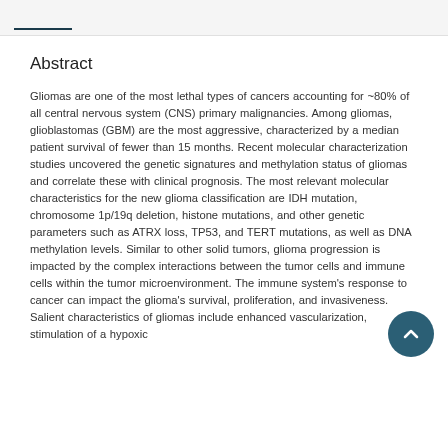Abstract
Gliomas are one of the most lethal types of cancers accounting for ~80% of all central nervous system (CNS) primary malignancies. Among gliomas, glioblastomas (GBM) are the most aggressive, characterized by a median patient survival of fewer than 15 months. Recent molecular characterization studies uncovered the genetic signatures and methylation status of gliomas and correlate these with clinical prognosis. The most relevant molecular characteristics for the new glioma classification are IDH mutation, chromosome 1p/19q deletion, histone mutations, and other genetic parameters such as ATRX loss, TP53, and TERT mutations, as well as DNA methylation levels. Similar to other solid tumors, glioma progression is impacted by the complex interactions between the tumor cells and immune cells within the tumor microenvironment. The immune system's response to cancer can impact the glioma's survival, proliferation, and invasiveness. Salient characteristics of gliomas include enhanced vascularization, stimulation of a hypoxic